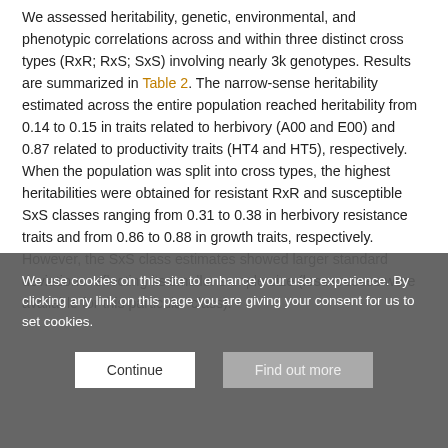We assessed heritability, genetic, environmental, and phenotypic correlations across and within three distinct cross types (RxR; RxS; SxS) involving nearly 3k genotypes. Results are summarized in Table 2. The narrow-sense heritability estimated across the entire population reached heritability from 0.14 to 0.15 in traits related to herbivory (A00 and E00) and 0.87 related to productivity traits (HT4 and HT5), respectively. When the population was split into cross types, the highest heritabilities were obtained for resistant RxR and susceptible SxS classes ranging from 0.31 to 0.38 in herbivory resistance traits and from 0.86 to 0.88 in growth traits, respectively. However, the SxS class estimates showed larger standard deviations reflecting its smaller sample size (less crosses were available for this particular class).
We use cookies on this site to enhance your user experience. By clicking any link on this page you are giving your consent for us to set cookies.